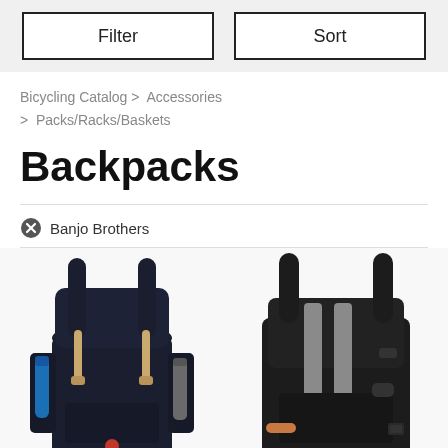Filter  Sort
Bicycling Catalog > Accessories > Packs/Racks/Baskets
Backpacks
Banjo Brothers
[Figure (photo): Two backpacks side by side: left is a dark navy roll-top backpack with tan leather straps and a blue water bottle in a side pocket; right is a black commuter backpack with two gray reflective stripes.]